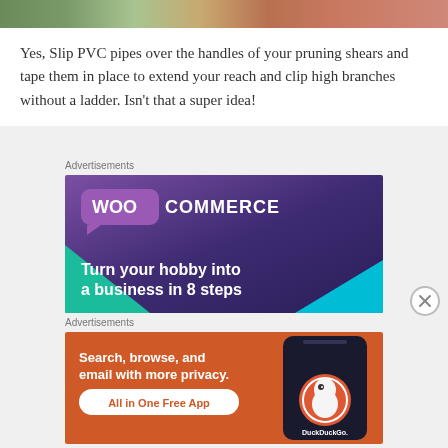[Figure (photo): Partial top image strip showing outdoor scene with person in red/orange clothing]
Yes, Slip PVC pipes over the handles of your pruning shears and tape them in place to extend your reach and clip high branches without a ladder. Isn't that a super idea!
Advertisements
[Figure (illustration): WooCommerce advertisement banner with purple gradient background, WooCommerce logo in speech bubble, teal and cyan decorative shapes, tagline: Turn your hobby into a business in 8 steps]
[Figure (illustration): DuckDuckGo advertisement banner with orange background, text: Search, browse, and email with more privacy. All in One Free App, showing phone with DuckDuckGo logo]
Advertisements